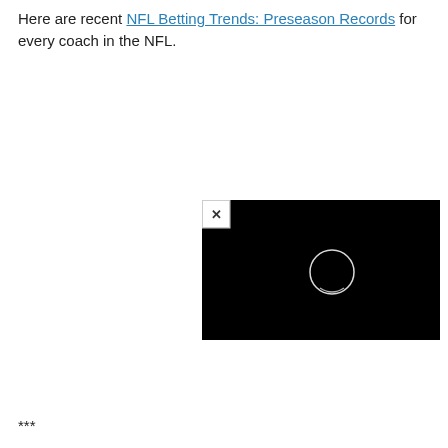Here are recent NFL Betting Trends: Preseason Records for every coach in the NFL.
[Figure (screenshot): A black video player thumbnail with a white close (X) button in the top-left corner and a circular play button indicator in the center.]
***